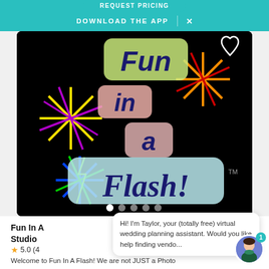Request pricing | DOWNLOAD THE APP  X
[Figure (screenshot): Fun In A Flash logo on black background with colorful starburst graphic elements in yellow, purple, green, blue, red, orange. Logo text reads 'Fun in a Flash!' with heart icon and image carousel dots.]
Fun In A Flash Photo Booth Studio
5.0 (4
Hi! I'm Taylor, your (totally free) virtual wedding planning assistant. Would you like help finding vendo...
Welcome to Fun In A Flash! We are not JUST a Photo